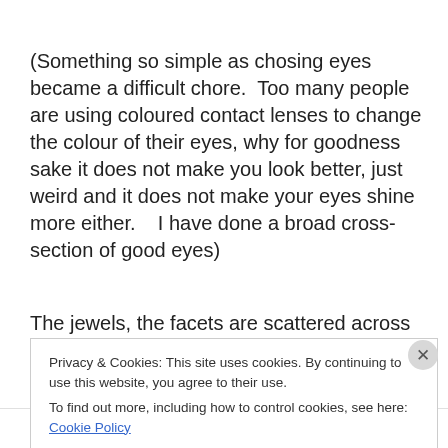(Something so simple as chosing eyes became a difficult chore.  Too many people are using coloured contact lenses to change the colour of their eyes, why for goodness sake it does not make you look better, just weird and it does not make your eyes shine more either.   I have done a broad cross-section of good eyes)
The jewels, the facets are scattered across the Earth they
Privacy & Cookies: This site uses cookies. By continuing to use this website, you agree to their use.
To find out more, including how to control cookies, see here: Cookie Policy
Close and accept
Follow ···